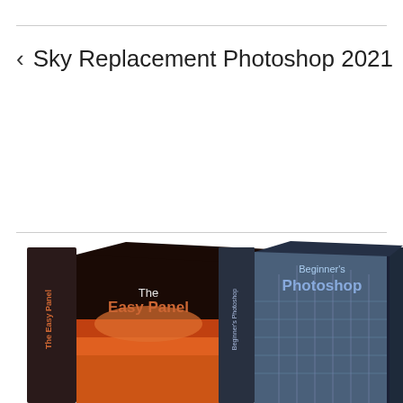‹ Sky Replacement Photoshop 2021
[Figure (illustration): Three 3D book/box products displayed side by side: 'The Easy Panel' (dark red/orange cover with sunset landscape), 'Beginner's Photoshop' (blue/grey cover with building), and 'The Essential Guide to Luminosity Masks' (dark blue cover with landscape). The books are partially cropped at the bottom of the image.]